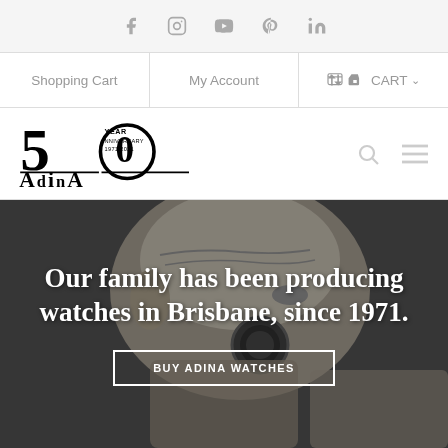Social icons: Facebook, Instagram, YouTube, Pinterest, LinkedIn
Shopping Cart | My Account | CART
[Figure (logo): Adina Watches 50 Year Anniversary 1971-2021 logo]
[Figure (photo): Black and white close-up photo of an elderly man examining a watch with a loupe]
Our family has been producing watches in Brisbane, since 1971.
BUY ADINA WATCHES